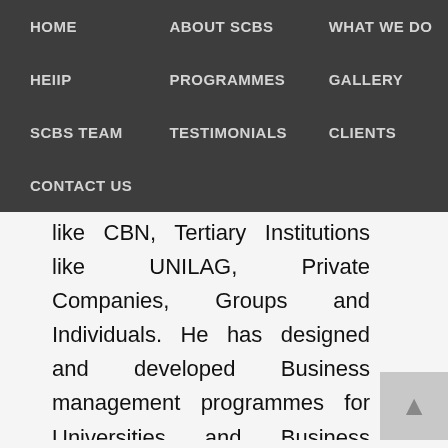HOME   ABOUT SCBS   WHAT WE DO   HEIIP   PROGRAMMES   GALLERY   SCBS TEAM   TESTIMONIALS   CLIENTS   CONTACT US
like CBN, Tertiary Institutions like UNILAG, Private Companies, Groups and Individuals. He has designed and developed Business management programmes for Universities and Business schools. In March 2017, one of